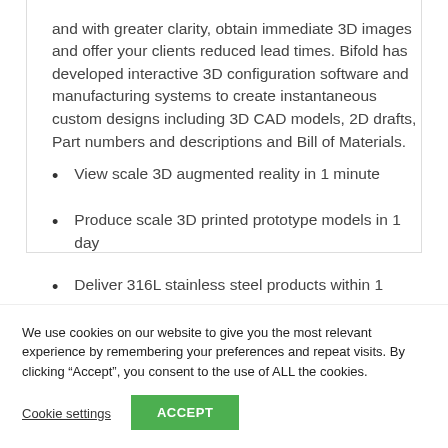and with greater clarity, obtain immediate 3D images and offer your clients reduced lead times. Bifold has developed interactive 3D configuration software and manufacturing systems to create instantaneous custom designs including 3D CAD models, 2D drafts, Part numbers and descriptions and Bill of Materials.
View scale 3D augmented reality in 1 minute
Produce scale 3D printed prototype models in 1 day
Deliver 316L stainless steel products within 1
We use cookies on our website to give you the most relevant experience by remembering your preferences and repeat visits. By clicking “Accept”, you consent to the use of ALL the cookies.